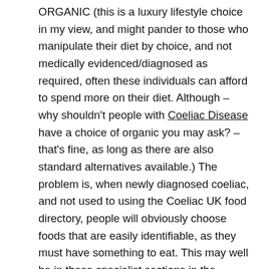ORGANIC (this is a luxury lifestyle choice in my view, and might pander to those who manipulate their diet by choice, and not medically evidenced/diagnosed as required, often these individuals can afford to spend more on their diet. Although – why shouldn't people with Coeliac Disease have a choice of organic you may ask? – that's fine, as long as there are also standard alternatives available.) The problem is, when newly diagnosed coeliac, and not used to using the Coeliac UK food directory, people will obviously choose foods that are easily identifiable, as they must have something to eat. This may well be in these specialist sections in the supermarket where 1/ not everything may well be gluten-free, as the section is for all food intolerances (still need to use the gluten free food directory) and 2/ cheaper gluten free versions might be available in some of the more standard/mainstream…